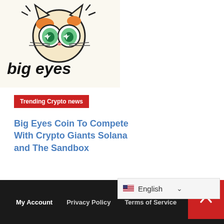[Figure (logo): Big Eyes Coin logo: cartoon cat face with large sparkly green eyes, surrounded by stylized 'big eyes' text in black comic-style font on cream/white background]
Trending Crypto news
Big Eyes Coin To Compete With Crypto Giants Solana and The Sandbox
3 mins ago
My Account   Privacy Policy   Terms of Service   Ab...
English